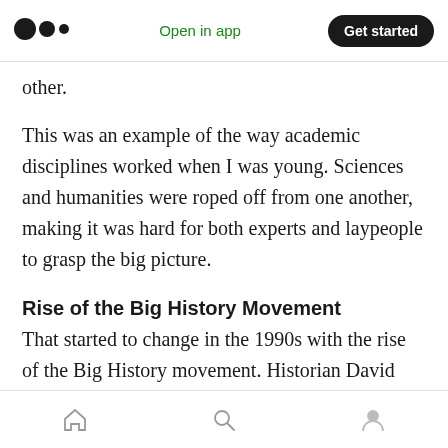Open in app | Get started
other.
This was an example of the way academic disciplines worked when I was young. Sciences and humanities were roped off from one another, making it was hard for both experts and laypeople to grasp the big picture.
Rise of the Big History Movement
That started to change in the 1990s with the rise of the Big History movement. Historian David Christian of McQuarrie University in Australia pioneered this new approach to teaching his
Home | Search | Profile